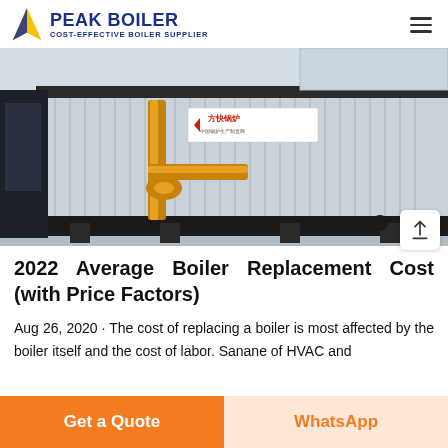PEAK BOILER — COST-EFFECTIVE BOILER SUPPLIER
[Figure (photo): Industrial boiler unit with corrugated metal casing and yellow pipes, displayed in a factory setting. A sign reading '方快锅炉' (Fangkuai Boiler) is visible on the casing.]
2022 Average Boiler Replacement Cost (with Price Factors)
Aug 26, 2020 · The cost of replacing a boiler is most affected by the boiler itself and the cost of labor. Sanane of HVAC and